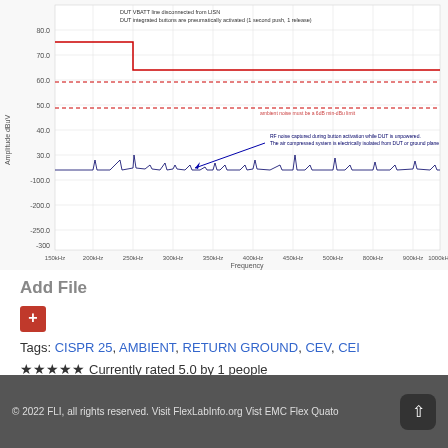[Figure (continuous-plot): RF spectrum plot showing amplitude (dBuV) vs frequency. Contains a stepped red limit line starting high then dropping, a dashed red ambient noise threshold line, and a blue waveform with multiple narrow spikes. Annotations note DUT VBATT line disconnected from LISN, pneumatically activated buttons, and RF noise captured during button activation while DUT is unpowered.]
Add File
+
Tags: CISPR 25, AMBIENT, RETURN GROUND, CEV, CEI
★★★★★ Currently rated 5.0 by 1 people
© 2022 FLI, all rights reserved. Visit FlexLabInfo.org Vist EMC Flex Quato